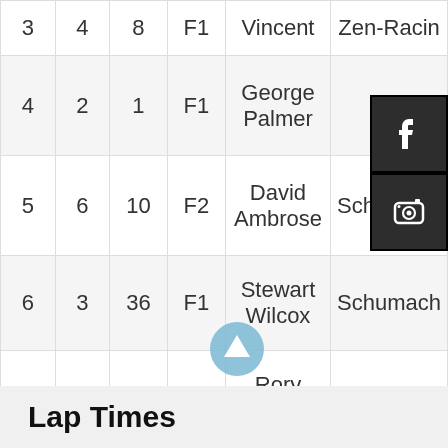| Pos | No | Car | Class | Driver | Team |
| --- | --- | --- | --- | --- | --- |
| 3 | 4 | 8 | F1 | Vincent | Zen-Racing |
| 4 | 2 | 1 | F1 | George Palmer | Sch... |
| 5 | 6 | 10 | F2 | David Ambrose | Schumach... |
| 6 | 3 | 36 | F1 | Stewart Wilcox | Schumach... |
| 7 | 5 | 9 | F2 | Rory Williams | Schumach... |
| 8 | 7 | 27 | F1 | Stuart Dye | Schumach... |
[Figure (illustration): Facebook social media icon (white F on dark background)]
[Figure (illustration): Instagram social media icon (camera on dark background)]
[Figure (illustration): Blue circular scroll-up arrow button]
Lap Times